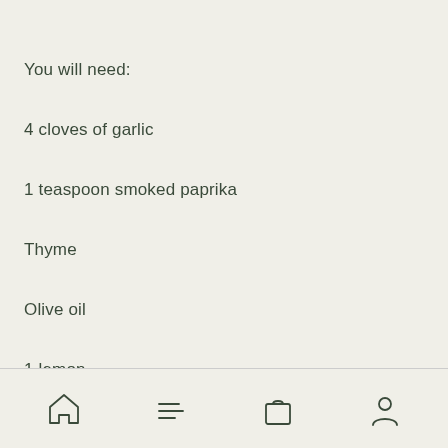You will need:
4 cloves of garlic
1 teaspoon smoked paprika
Thyme
Olive oil
1 lemon
Navigation bar with home, menu, bag, and profile icons